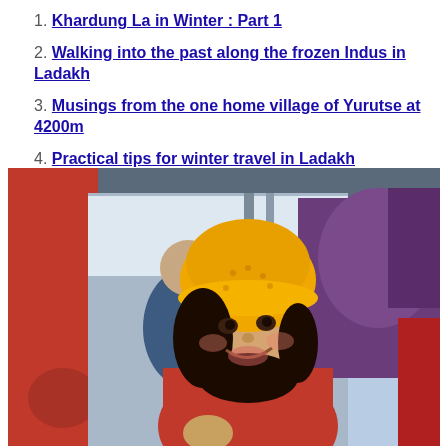Khardung La in Winter : Part 1
Walking into the past along the frozen Indus in Ladakh
Musings from the one home village of Yurutse at 4200m
Practical tips for winter travel in Ladakh
[Figure (photo): A young girl wearing a bright yellow knit beret hat and red jacket, smiling and looking upward, photographed inside what appears to be a bus or vehicle. Other passengers and colorful bags are visible in the background. The scene appears to be in Ladakh, India.]